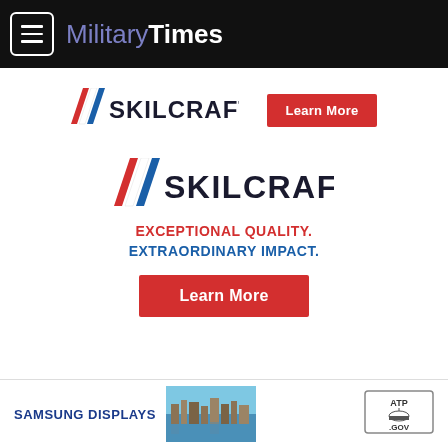Military Times
[Figure (logo): SKILCRAFT logo with red/blue chevron stripes and 'Learn More' red button - banner advertisement]
[Figure (logo): SKILCRAFT logo with tagline 'EXCEPTIONAL QUALITY. EXTRAORDINARY IMPACT.' and red 'Learn More' button - main advertisement]
[Figure (infographic): Bottom advertisement strip: SAMSUNG DISPLAYS with a landscape photo and ATP.GOV badge]